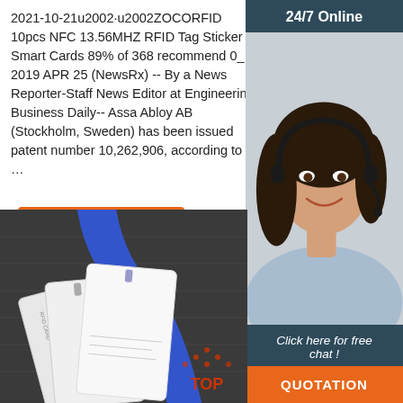2021-10-21u2002·u2002ZOCORFID 10pcs NFC 13.56MHZ RFID Tag Sticker Smart Cards 89% of 368 recommend 0_ 2019 APR 25 (NewsRx) -- By a News Reporter-Staff News Editor at Engineering Business Daily-- Assa Abloy AB (Stockholm, Sweden) has been issued patent number 10,262,906, according to …
[Figure (photo): Customer service representative wearing headset, smiling, with '24/7 Online' header and 'Click here for free chat!' text and orange QUOTATION button]
Get Price
[Figure (photo): RFID smart cards (white blank cards) on dark surface with blue lanyard and a 'TOP' badge watermark]